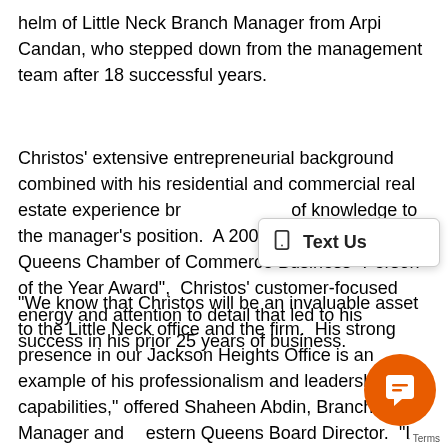helm of Little Neck Branch Manager from Arpi Candan, who stepped down from the management team after 18 successful years.
Christos' extensive entrepreneurial background combined with his residential and commercial real estate experience br[ings a wealth] of knowledge to the manager's position.  A 2007 reci[pient of the] Queens Chamber of Commerce Business "Person of the Year Award",  Christos' customer-focused energy and attention to detail that led to his success in his prior 25 years of business.
"We know that Christos will be an invaluable asset to the Little Neck office and the firm.  His strong presence in our Jackson Heights Office is an example of his professionalism and leadership capabilities," offered Shaheen Abdin, Branch Manager and Western Queens Board Director.  "I look forward to working clos[ely with him] in his new role."